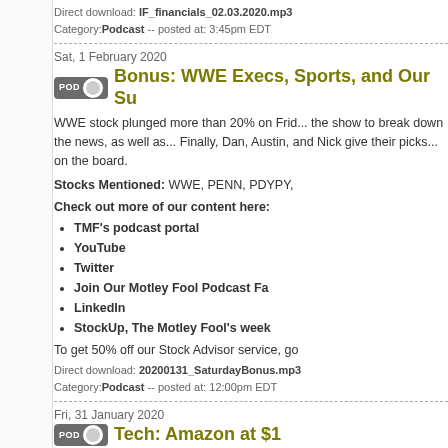Direct download: IF_financials_02.03.2020.mp3
Category: Podcast -- posted at: 3:45pm EDT
Sat, 1 February 2020
Bonus: WWE Execs, Sports, and Our Su...
WWE stock plunged more than 20% on Frid... the show to break down the news, as well as... Finally, Dan, Austin, and Nick give their picks... on the board.
Stocks Mentioned: WWE, PENN, PDYPY,
Check out more of our content here:
TMF's podcast portal
YouTube
Twitter
Join Our Motley Fool Podcast Fa...
LinkedIn
StockUp, The Motley Fool's week...
To get 50% off our Stock Advisor service, go...
Direct download: 20200131_SaturdayBonus.mp3
Category: Podcast -- posted at: 12:00pm EDT
Fri, 31 January 2020
Tech: Amazon at $1...
Apple and Amazon both put up stellar earni... companies in the $1T club can keep growing...